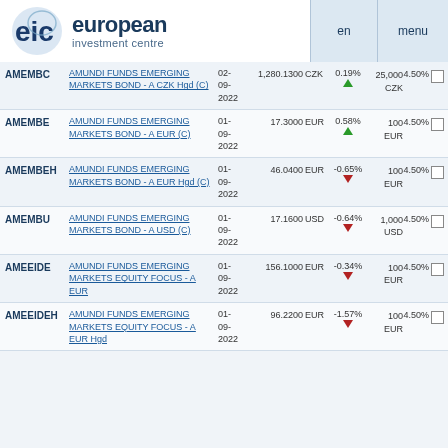european investment centre | en | menu
| Code | Name | Date | Price | CCY | Change | Min | Fee |  |
| --- | --- | --- | --- | --- | --- | --- | --- | --- |
| AMEMBC | AMUNDI FUNDS EMERGING MARKETS BOND - A CZK Hgd (C) | 02-09-2022 | 1,280.1300 | CZK | 0.19% ▲ | 25,000 CZK | 4.50% | ☐ |
| AMEMBE | AMUNDI FUNDS EMERGING MARKETS BOND - A EUR (C) | 01-09-2022 | 17.3000 | EUR | 0.58% ▲ | 100 EUR | 4.50% | ☐ |
| AMEMBEH | AMUNDI FUNDS EMERGING MARKETS BOND - A EUR Hgd (C) | 01-09-2022 | 46.0400 | EUR | -0.65% ▼ | 100 EUR | 4.50% | ☐ |
| AMEMBU | AMUNDI FUNDS EMERGING MARKETS BOND - A USD (C) | 01-09-2022 | 17.1600 | USD | -0.64% ▼ | 1,000 USD | 4.50% | ☐ |
| AMEEIDE | AMUNDI FUNDS EMERGING MARKETS EQUITY FOCUS - A EUR | 01-09-2022 | 156.1000 | EUR | -0.34% ▼ | 100 EUR | 4.50% | ☐ |
| AMEEIDEH | AMUNDI FUNDS EMERGING MARKETS EQUITY FOCUS - A EUR Hgd | 01-09-2022 | 96.2200 | EUR | -1.57% ▼ | 100 EUR | 4.50% | ☐ |